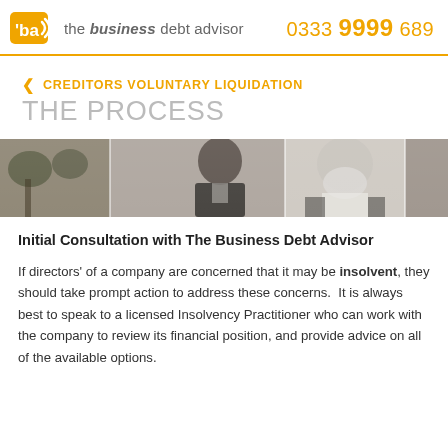the business debt advisor | 0333 9999 689
CREDITORS VOLUNTARY LIQUIDATION — THE PROCESS
[Figure (photo): A horizontal strip of four overlapping photographs showing people, including business professionals, used as a decorative banner.]
Initial Consultation with The Business Debt Advisor
If directors' of a company are concerned that it may be insolvent, they should take prompt action to address these concerns.  It is always best to speak to a licensed Insolvency Practitioner who can work with the company to review its financial position, and provide advice on all of the available options.